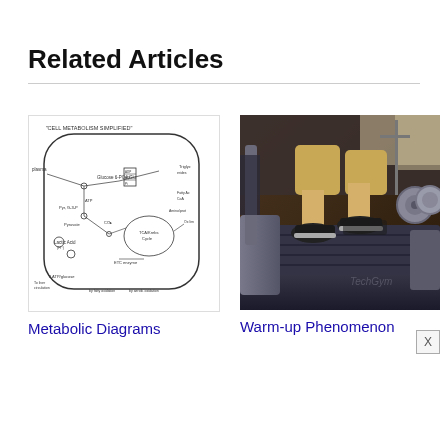Related Articles
[Figure (illustration): Hand-drawn metabolic diagram showing cell metabolism pathways, including glycolysis, Krebs cycle, and other metabolic processes with arrows and labels.]
Metabolic Diagrams
[Figure (photo): Photo of a person's legs walking on a treadmill in a gym setting with exercise equipment visible in the background.]
Warm-up Phenomenon